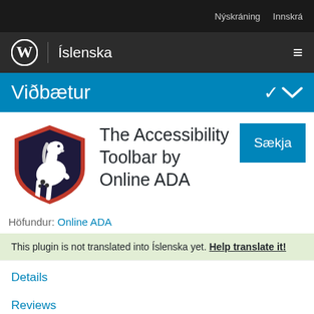Nýskráning  Innskrá
WordPress | Íslenska
Viðbætur
[Figure (logo): Accessibility Toolbar plugin logo: white horse on dark shield with red trim]
The Accessibility Toolbar by Online ADA
Höfundur: Online ADA
This plugin is not translated into Íslenska yet. Help translate it!
Details
Reviews